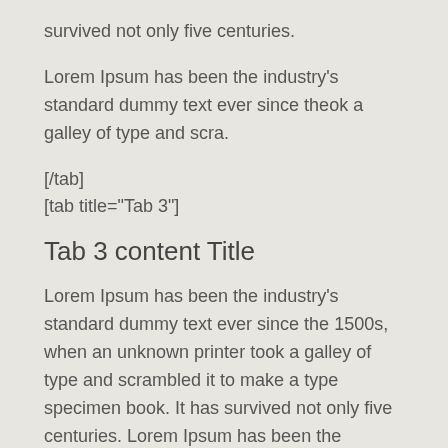survived not only five centuries.
Lorem Ipsum has been the industry's standard dummy text ever since theok a galley of type and scra.
[/tab]
[tab title="Tab 3"]
Tab 3 content Title
Lorem Ipsum has been the industry's standard dummy text ever since the 1500s, when an unknown printer took a galley of type and scrambled it to make a type specimen book. It has survived not only five centuries. Lorem Ipsum has been the industry's standard dummy text ever since theok a galley of type and scra.
[/tab]
[tab title="T4"]